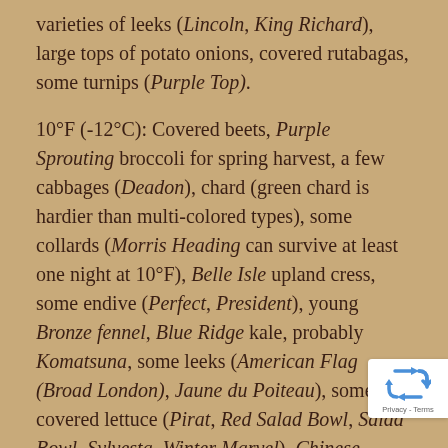varieties of leeks (Lincoln, King Richard), large tops of potato onions, covered rutabagas, some turnips (Purple Top).
10°F (-12°C): Covered beets, Purple Sprouting broccoli for spring harvest, a few cabbages (Deadon), chard (green chard is hardier than multi-colored types), some collards (Morris Heading can survive at least one night at 10°F), Belle Isle upland cress, some endive (Perfect, President), young Bronze fennel, Blue Ridge kale, probably Komatsuna, some leeks (American Flag (Broad London), Jaune du Poiteau), some covered lettuce (Pirat, Red Salad Bowl, Salad Bowl, Sylvesta, Winter Marvel), Chinese Thick-Stem Mustard may survive down to 6°F (-14°C),
[Figure (logo): reCAPTCHA badge with recycling-arrows logo and Privacy - Terms text]